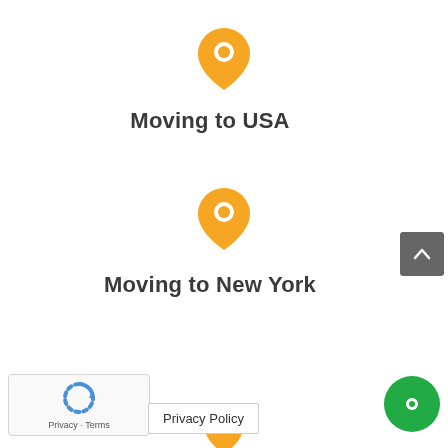[Figure (illustration): Orange/amber map location pin icon]
Moving to USA
[Figure (illustration): Orange/amber map location pin icon]
Moving to New York
[Figure (illustration): reCAPTCHA widget with Privacy - Terms text]
Privacy Policy
[Figure (illustration): Scroll-to-top arrow button in gray]
[Figure (illustration): Green chat widget circle with white dot]
[Figure (illustration): Orange/amber map location pin icon (partial, bottom)]